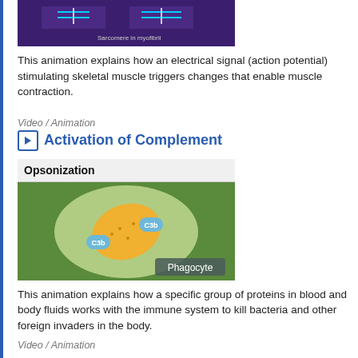[Figure (screenshot): Thumbnail image showing sarcomere in myofibril animation with purple background]
This animation explains how an electrical signal (action potential) stimulating skeletal muscle triggers changes that enable muscle contraction.
Video / Animation
Activation of Complement
[Figure (screenshot): Opsonization illustration showing a phagocyte (green background) with a yellow organism and C3b labels]
This animation explains how a specific group of proteins in blood and body fluids works with the immune system to kill bacteria and other foreign invaders in the body.
Video / Animation